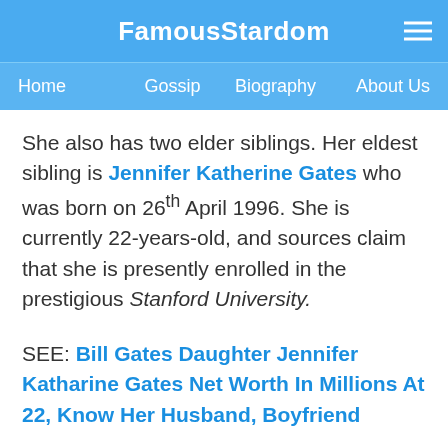FamousStardom
Home  Gossip  Biography  About Us
She also has two elder siblings. Her eldest sibling is Jennifer Katherine Gates who was born on 26th April 1996. She is currently 22-years-old, and sources claim that she is presently enrolled in the prestigious Stanford University.
SEE: Bill Gates Daughter Jennifer Katharine Gates Net Worth In Millions At 22, Know Her Husband, Boyfriend